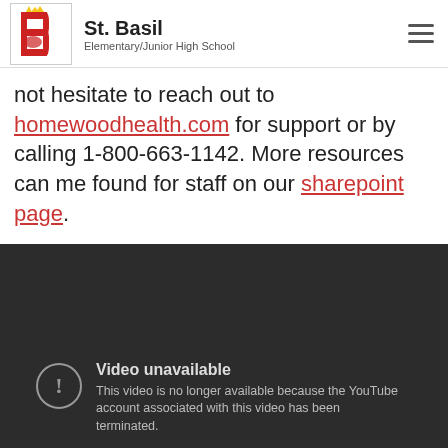St. Basil Elementary/Junior High School
not hesitate to reach out to homewoodhealth.com for support or by calling 1-800-663-1142. More resources can me found for staff on our sharepoint page.
[Figure (screenshot): YouTube video embed showing 'Video unavailable' error message: 'This video is no longer available because the YouTube account associated with this video has been terminated.']